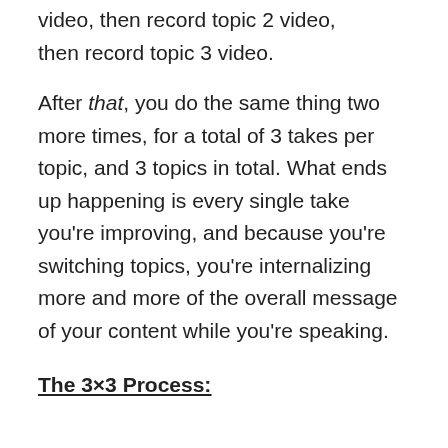video, then record topic 2 video, then record topic 3 video.
After that, you do the same thing two more times, for a total of 3 takes per topic, and 3 topics in total. What ends up happening is every single take you're improving, and because you're switching topics, you're internalizing more and more of the overall message of your content while you're speaking.
The 3×3 Process: